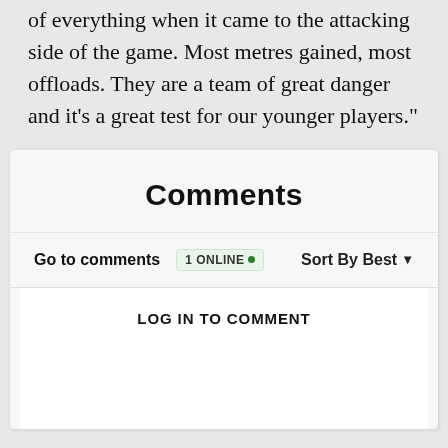of everything when it came to the attacking side of the game. Most metres gained, most offloads. They are a team of great danger and it’s a great test for our younger players.”
Comments
Go to comments  1 ONLINE •  Sort By Best
LOG IN TO COMMENT